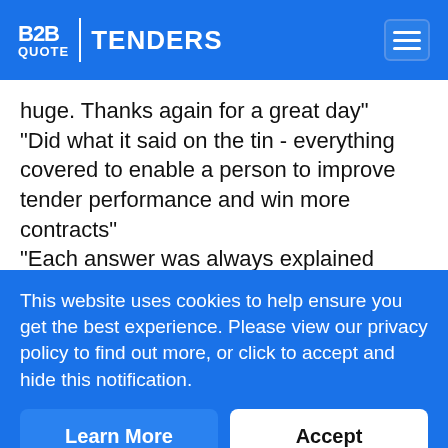B2B QUOTE | TENDERS
huge. Thanks again for a great day" "Did what it said on the tin - everything covered to enable a person to improve tender performance and win more contracts" "Each answer was always explained thoroughly. Couldn't fault anything!" "Thanks to the insights and skills gained from the
This website uses cookies to help ensure you get the best experience. Please view our privacy policy to find out more, or click to accept and hide this notification.
Learn More
Accept